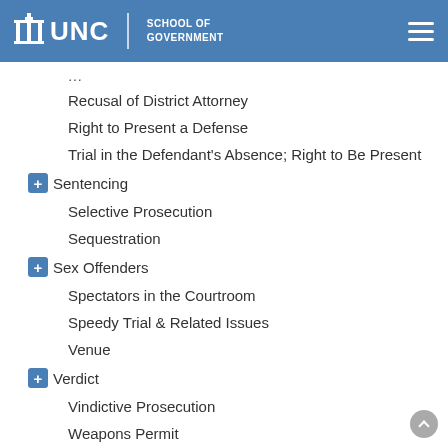UNC School of Government
Recusal of District Attorney
Right to Present a Defense
Trial in the Defendant's Absence; Right to Be Present
Sentencing
Selective Prosecution
Sequestration
Sex Offenders
Spectators in the Courtroom
Speedy Trial & Related Issues
Venue
Verdict
Vindictive Prosecution
Weapons Permit
Witnesses
Evidence
Arrest, Search, and Investigation
Criminal Offenses